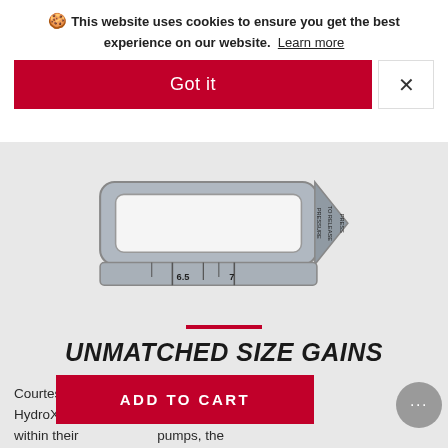🍪 This website uses cookies to ensure you get the best experience on our website. Learn more
Got it
[Figure (photo): Product image of a handball/vacuum gauge device, gray metallic with markings 6.5 and 7, and text PRESS TO RELEASE PRESSURE on the right side with an arrow shape.]
UNMATCHED SIZE GAINS
Courtesy of the attached handball unit, BathmHydroXtreme e pre within theirpumps, theHydroXtreme is designed to prevent over-pressurising.
ADD TO CART